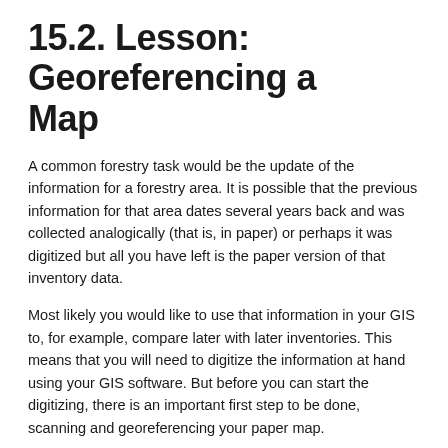15.2. Lesson: Georeferencing a Map
A common forestry task would be the update of the information for a forestry area. It is possible that the previous information for that area dates several years back and was collected analogically (that is, in paper) or perhaps it was digitized but all you have left is the paper version of that inventory data.
Most likely you would like to use that information in your GIS to, for example, compare later with later inventories. This means that you will need to digitize the information at hand using your GIS software. But before you can start the digitizing, there is an important first step to be done, scanning and georeferencing your paper map.
The goal for this lesson: To learn to use the Georeferencer tool in QGIS.